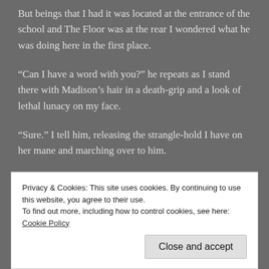But beings that I had it was located at the entrance of the school and The Floor was at the rear I wondered what he was doing here in the first place.
“Can I have a word with you?” he repeats as I stand there with Madison’s hair in a death-grip and a look of lethal lunacy on my face.
“Sure.” I tell him, releasing the strangle-hold I have on her mane and marching over to him.
“What are you doing?” he asks.
Privacy & Cookies: This site uses cookies. By continuing to use this website, you agree to their use.
To find out more, including how to control cookies, see here: Cookie Policy